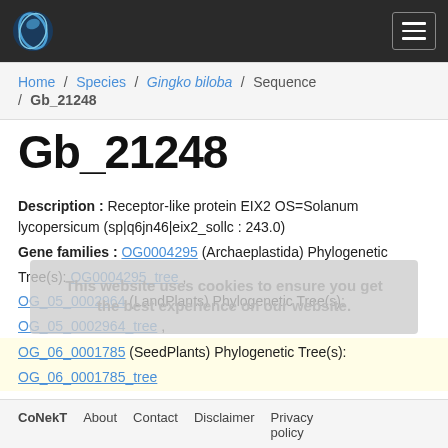CoNekT [logo] [menu]
Home / Species / Gingko biloba / Sequence / Gb_21248
Gb_21248
Description : Receptor-like protein EIX2 OS=Solanum lycopersicum (sp|q6jn46|eix2_sollc : 243.0)
Gene families : OG0004295 (Archaeplastida) Phylogenetic Tree(s): OG0004295_tree , OG_05_0002964 (LandPlants) Phylogenetic Tree(s): OG_05_0002964_tree , OG_06_0001785 (SeedPlants) Phylogenetic Tree(s): OG_06_0001785_tree
CoNekT   About   Contact   Disclaimer   Privacy policy